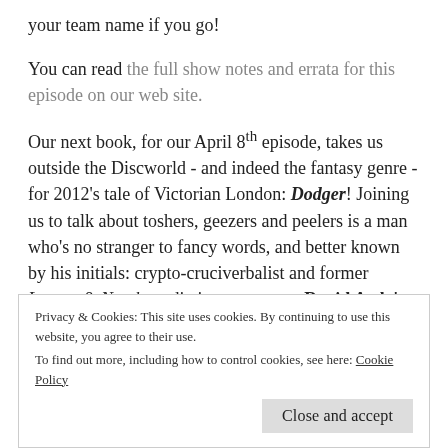your team name if you go!
You can read the full show notes and errata for this episode on our web site.
Our next book, for our April 8th episode, takes us outside the Discworld - and indeed the fantasy genre - for 2012’s tale of Victorian London: Dodger! Joining us to talk about toshers, geezers and peelers is a man who’s no stranger to fancy words, and better known by his initials: crypto-cruciverbalist and former Letters & Numbers dictionary master, David Astle! We’ll be recording on March 24th, so
Privacy & Cookies: This site uses cookies. By continuing to use this website, you agree to their use.
To find out more, including how to control cookies, see here: Cookie Policy
Close and accept